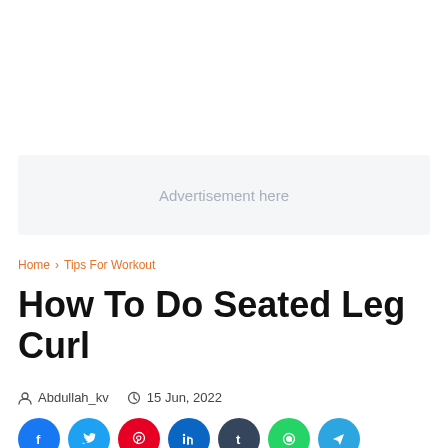[Figure (other): Advertisement placeholder box with text 'Advertisement here']
Home › Tips For Workout
How To Do Seated Leg Curl
Abdullah_kv   15 Jun, 2022
[Figure (other): Social media share buttons: Facebook, Twitter, Pinterest, LinkedIn, Tumblr, WhatsApp, Telegram]